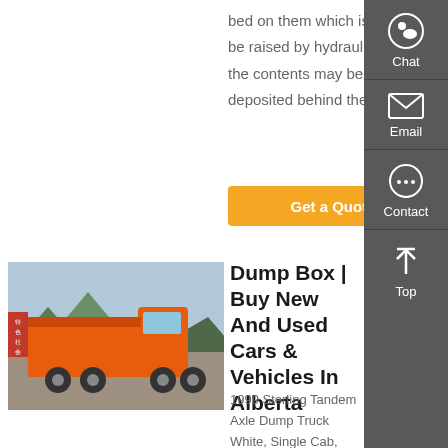bed on them which is able to be raised by hydraulics so the contents may be deposited behind the
Get a Quote
[Figure (photo): Orange dump truck (SINOTRUK HOWO) parked outdoors with mountains and Chinese signage in background]
Dump Box | Buy New And Used Cars & Vehicles In Alberta
1999 Sterling Tandem Axle Dump Truck White, Single Cab, Caterpillar C12 6 Cylinder Diesel Engine, Eaton 13 Speed